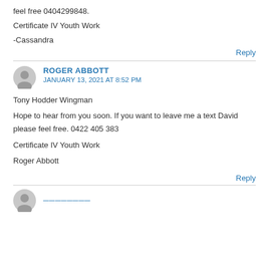feel free 0404299848.
Certificate IV Youth Work
-Cassandra
Reply
ROGER ABBOTT
JANUARY 13, 2021 AT 8:52 PM
Tony Hodder Wingman
Hope to hear from you soon. If you want to leave me a text David please feel free. 0422 405 383
Certificate IV Youth Work
Roger Abbott
Reply